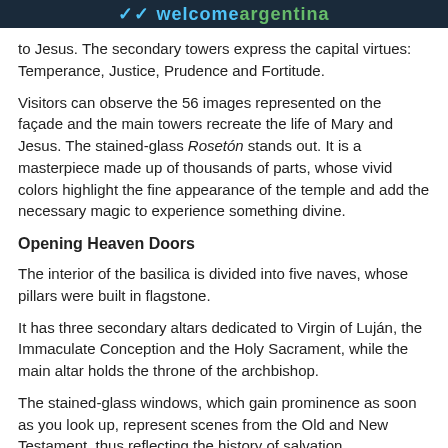welcomeargentina
to Jesus. The secondary towers express the capital virtues: Temperance, Justice, Prudence and Fortitude.
Visitors can observe the 56 images represented on the façade and the main towers recreate the life of Mary and Jesus. The stained-glass Rosetón stands out. It is a masterpiece made up of thousands of parts, whose vivid colors highlight the fine appearance of the temple and add the necessary magic to experience something divine.
Opening Heaven Doors
The interior of the basilica is divided into five naves, whose pillars were built in flagstone.
It has three secondary altars dedicated to Virgin of Luján, the Immaculate Conception and the Holy Sacrament, while the main altar holds the throne of the archbishop.
The stained-glass windows, which gain prominence as soon as you look up, represent scenes from the Old and New Testament, thus reflecting the history of salvation.